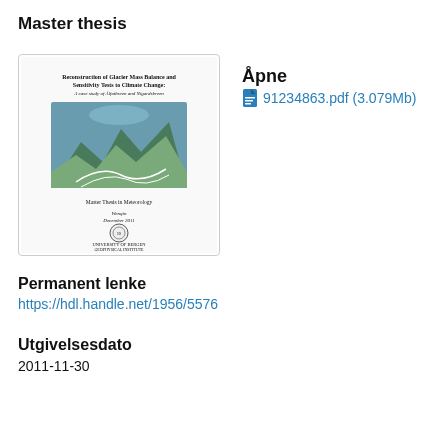Master thesis
[Figure (other): Thumbnail of master thesis cover page titled 'Reconstruction of Glacier Mass Balance and Sensitivity Tests to Climate Change: A case study of Ålfotbreen and Nigardsbreen', with an aerial mountain/fjord photo, University of Bergen Geophysical Institute, Master Thesis in Meteorology, December 2011.]
Åpne
91234863.pdf (3.079Mb)
Permanent lenke
https://hdl.handle.net/1956/5576
Utgivelsesdato
2011-11-30